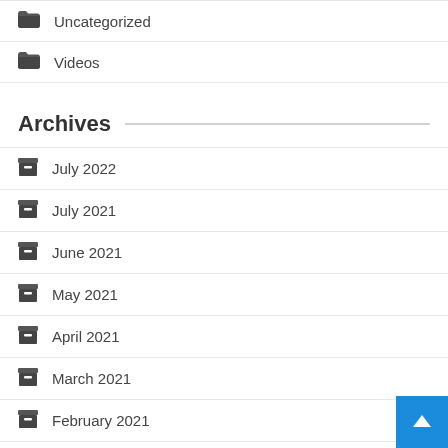Uncategorized
Videos
Archives
July 2022
July 2021
June 2021
May 2021
April 2021
March 2021
February 2021
January 2021